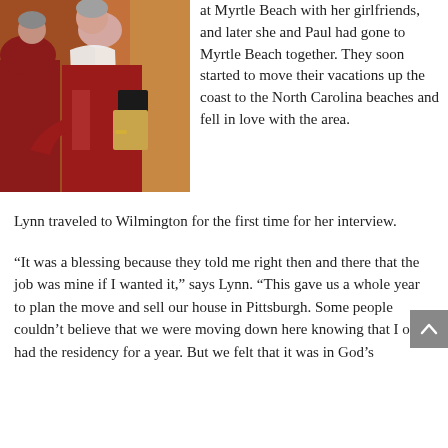[Figure (photo): Two women in red outfits, one wearing a white scarf, holding books/binders. Christmas or church setting.]
at Myrtle Beach with her girlfriends, and later she and Paul had gone to Myrtle Beach together. They soon started to move their vacations up the coast to the North Carolina beaches and fell in love with the area.
Lynn traveled to Wilmington for the first time for her interview.
“It was a blessing because they told me right then and there that the job was mine if I wanted it,” says Lynn. “This gave us a whole year to plan the move and sell our house in Pittsburgh. Some people couldn’t believe that we were moving down here knowing that I only had the residency for a year. But we felt that it was in God’s